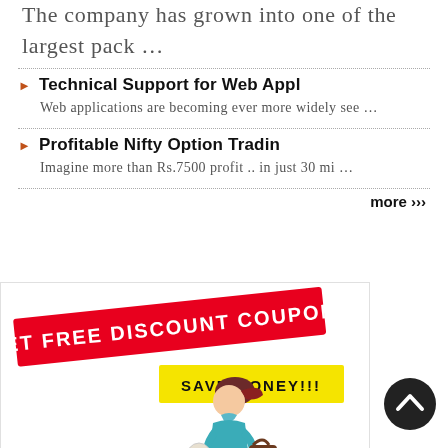The company has grown into one of the largest pack ...
Technical Support for Web Appl — Web applications are becoming ever more widely see ...
Profitable Nifty Option Tradin — Imagine more than Rs.7500 profit .. in just 30 mi ...
more ›››
[Figure (illustration): Advertisement banner with red diagonal banner reading GET FREE DISCOUNT COUPONS, yellow banner reading SAVE MONEY!!!, and an illustrated woman carrying shopping bags]